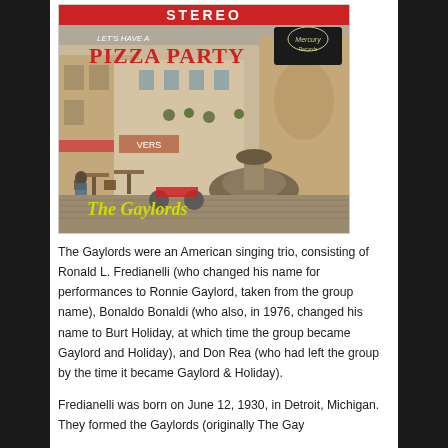[Figure (illustration): Album cover for 'Let's Have a Pizza Party' by The Gaylords on Mercury Records (Stereo). Shows an Italian piazza scene with people at outdoor cafe tables, a stone fountain, and buildings in background. Text: 'STEREO' in red at top, 'LET'S HAVE A PIZZA PARTY' in red stylized font, Mercury Records logo top right, 'The Gaylords' in yellow-green script at bottom left.]
The Gaylords were an American singing trio, consisting of Ronald L. Fredianelli (who changed his name for performances to Ronnie Gaylord, taken from the group name), Bonaldo Bonaldi (who also, in 1976, changed his name to Burt Holiday, at which time the group became Gaylord and Holiday), and Don Rea (who had left the group by the time it became Gaylord & Holiday).
Fredianelli was born on June 12, 1930, in Detroit, Michigan. They formed the Gaylords (originally The Gay